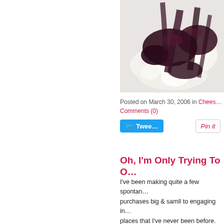[Figure (photo): Food photo showing white cream/cheese dessert pieces topped with dark berry sauce on a white plate, viewed close up from above.]
Posted on March 30, 2006 in Cheese… Comments (0)
[Figure (other): Tweet button and Pin it button]
Oh, I'm Only Trying To O…
I've been making quite a few spontan… purchases big & samll to engaging in… places that I've never been before. R… been and what motivates me to act o… could not come up with anything int…